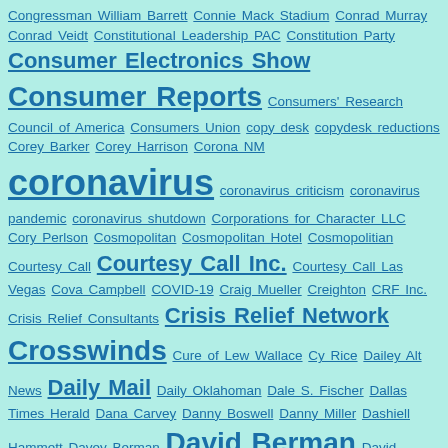Congressman William Barrett Connie Mack Stadium Conrad Murray Conrad Veidt Constitutional Leadership PAC Constitution Party Consumer Electronics Show Consumer Reports Consumers' Research Council of America Consumers Union copy desk copydesk reductions Corey Barker Corey Harrison Corona NM coronavirus coronavirus criticism coronavirus pandemic coronavirus shutdown Corporations for Character LLC Cory Perlson Cosmopolitan Cosmopolitan Hotel Cosmopolitian Courtesy Call Courtesy Call Inc. Courtesy Call Las Vegas Cova Campbell COVID-19 Craig Mueller Creighton CRF Inc. Crisis Relief Consultants Crisis Relief Network Crosswinds Cure of Lew Wallace Cy Rice Dailey Alt News Daily Mail Daily Oklahoman Dale S. Fischer Dallas Times Herald Dana Carvey Danny Boswell Danny Miller Dashiell Hammett Davey Berman David Berman David Correia David Duffield David Letterman David Marston David O. Russell David Roe Davie Berman Davis Memorial Park dba dead body dead pimp elected Dean Foods Dean Heller Death Row of Las Vegas Debra J. Saunders DeCavalcante crime family declining circulation Del Webb Demi Moore Dennis Hof Denver Dickerson Denver S. Dickerson Deon Crosby Department of Veterans depressive management style Deseret News Desert Inn Desert Inn Las Vegas detached management style Diane Samson diazepam District Judge Timothy Williams Dixie State University dog-on-dog killing Dog Fancier's Park Dogs for Law Enforcement Dominion of Melchizedek Don't Let Your Meat Loaf Donald J. Trump